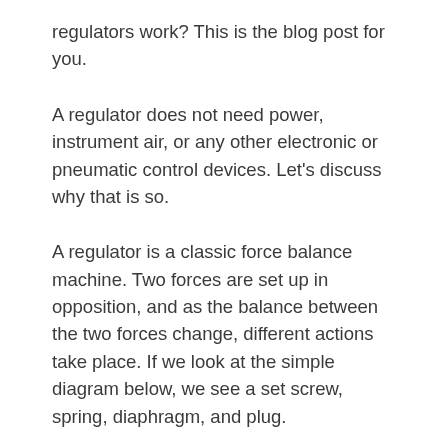regulators work? This is the blog post for you.
A regulator does not need power, instrument air, or any other electronic or pneumatic control devices. Let’s discuss why that is so.
A regulator is a classic force balance machine. Two forces are set up in opposition, and as the balance between the two forces change, different actions take place. If we look at the simple diagram below, we see a set screw, spring, diaphragm, and plug.